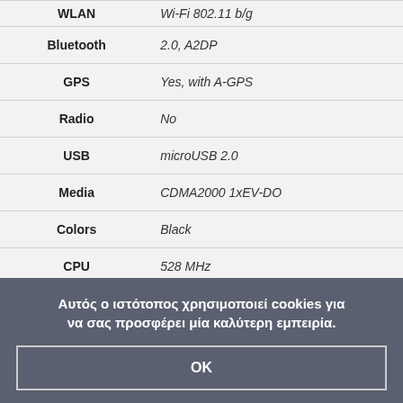| Feature | Value |
| --- | --- |
| WLAN | Wi-Fi 802.11 b/g |
| Bluetooth | 2.0, A2DP |
| GPS | Yes, with A-GPS |
| Radio | No |
| USB | microUSB 2.0 |
| Media | CDMA2000 1xEV-DO |
| Colors | Black |
| CPU | 528 MHz |
Αυτός ο ιστότοπος χρησιμοποιεί cookies για να σας προσφέρει μία καλύτερη εμπειρία.
OK